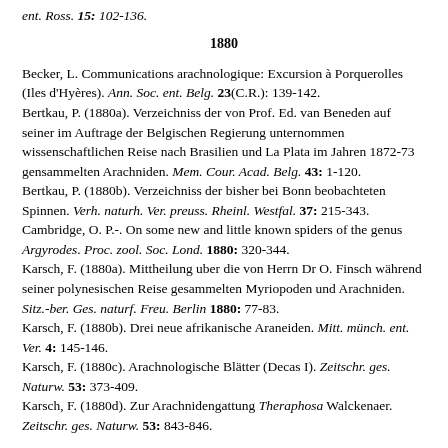ent. Ross. 15: 102-136.
1880
Becker, L. Communications arachnologique: Excursion à Porquerolles (Iles d'Hyères). Ann. Soc. ent. Belg. 23(C.R.): 139-142.
Bertkau, P. (1880a). Verzeichniss der von Prof. Ed. van Beneden auf seiner im Auftrage der Belgischen Regierung unternommen wissenschaftlichen Reise nach Brasilien und La Plata im Jahren 1872-73 gensammelten Arachniden. Mem. Cour. Acad. Belg. 43: 1-120.
Bertkau, P. (1880b). Verzeichniss der bisher bei Bonn beobachteten Spinnen. Verh. naturh. Ver. preuss. Rheinl. Westfal. 37: 215-343.
Cambridge, O. P.-. On some new and little known spiders of the genus Argyrodes. Proc. zool. Soc. Lond. 1880: 320-344.
Karsch, F. (1880a). Mittheilung uber die von Herrn Dr O. Finsch während seiner polynesischen Reise gesammelten Myriopoden und Arachniden. Sitz.-ber. Ges. naturf. Freu. Berlin 1880: 77-83.
Karsch, F. (1880b). Drei neue afrikanische Araneiden. Mitt. münch. ent. Ver. 4: 145-146.
Karsch, F. (1880c). Arachnologische Blätter (Decas I). Zeitschr. ges. Naturw. 53: 373-409.
Karsch, F. (1880d). Zur Arachnidengattung Theraphosa Walckenaer. Zeitschr. ges. Naturw. 53: 843-846.